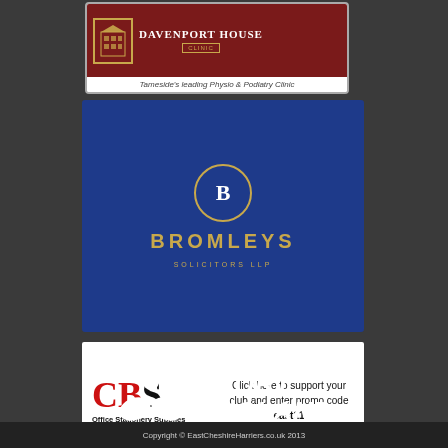[Figure (logo): Davenport House Clinic advertisement — dark red background with building icon, title DAVENPORT HOUSE CLINIC, tagline: Tameside's leading Physio & Podiatry Clinic]
[Figure (logo): Bromleys Solicitors LLP advertisement — dark blue background with golden circle logo containing B, BROMLEYS in gold, SOLICITORS LLP in gold]
[Figure (logo): CBS Office Stationery Supplies advertisement — white background with CBS in red and black serif letters, text: Click here to support your club and enter promo code east11]
[Figure (logo): Sport England logo — white person/leaf icon and white bold italic SPORT ENGLAND text on dark grey background]
Copyright © EastCheshireHarriers.co.uk 2013